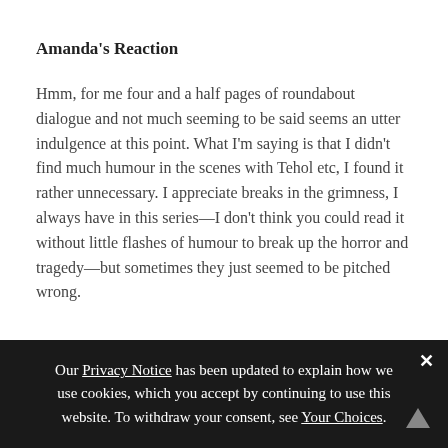Amanda's Reaction
Hmm, for me four and a half pages of roundabout dialogue and not much seeming to be said seems an utter indulgence at this point. What I'm saying is that I didn't find much humour in the scenes with Tehol etc, I found it rather unnecessary. I appreciate breaks in the grimness, I always have in this series—I don't think you could read it without little flashes of humour to break up the horror and tragedy—but sometimes they just seemed to be pitched wrong.
Our Privacy Notice has been updated to explain how we use cookies, which you accept by continuing to use this website. To withdraw your consent, see Your Choices.